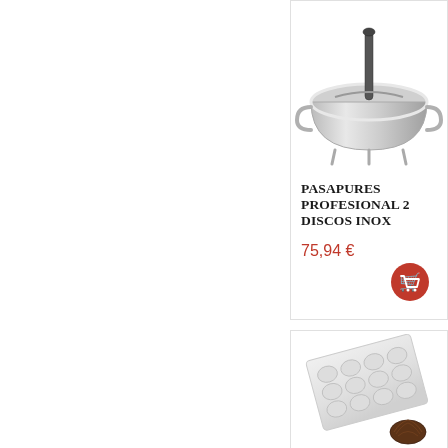[Figure (photo): Stainless steel professional food mill / passapures with two discs shown from above on white background]
PASAPURES PROFESIONAL 2 DISCOS INOX
75,94 €
[Figure (photo): Clear polycarbonate chocolate mold tray with shell-shaped cavities, with a chocolate shell candy shown in foreground]